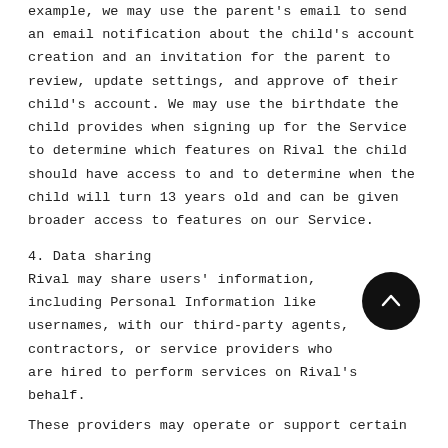example, we may use the parent's email to send an email notification about the child's account creation and an invitation for the parent to review, update settings, and approve of their child's account. We may use the birthdate the child provides when signing up for the Service to determine which features on Rival the child should have access to and to determine when the child will turn 13 years old and can be given broader access to features on our Service.
4. Data sharing
Rival may share users' information, including Personal Information like usernames, with our third-party agents, contractors, or service providers who are hired to perform services on Rival's behalf.
These providers may operate or support certain